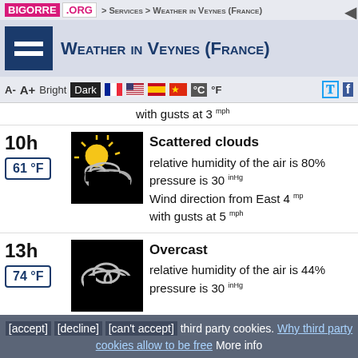BIGORRE .ORG > Services > Weather in Veynes (France)
Weather in Veynes (France)
A-  A+  Bright  Dark  °C °F
with gusts at 3 mph
10h
61 °F
[Figure (illustration): Scattered clouds weather icon: sun partially behind clouds on black background]
Scattered clouds
relative humidity of the air is 80%
pressure is 30 inHg
Wind direction from East 4 mph
with gusts at 5 mph
13h
74 °F
[Figure (illustration): Overcast weather icon: cloud on black background]
Overcast
relative humidity of the air is 44%
pressure is 30 inHg
[accept] [decline] [can't accept] third party cookies. Why third party cookies allow to be free More info